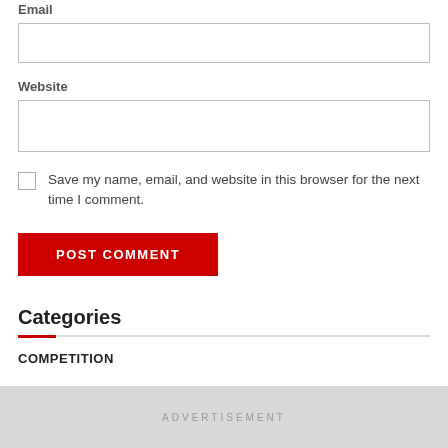Email
Website
Save my name, email, and website in this browser for the next time I comment.
POST COMMENT
Categories
COMPETITION
ADVERTISEMENT